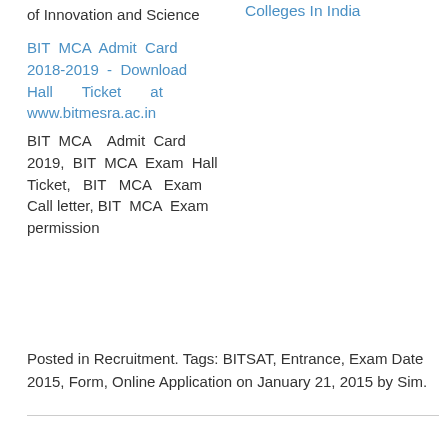of Innovation and Science
Colleges In India
BIT MCA Admit Card 2018-2019 - Download Hall Ticket at wwwbitmesraacin
BIT MCA Admit Card 2019, BIT MCA Exam Hall Ticket, BIT MCA Exam Call letter, BIT MCA Exam permission
Posted in Recruitment. Tags: BITSAT, Entrance, Exam Date 2015, Form, Online Application on January 21, 2015 by Sim.